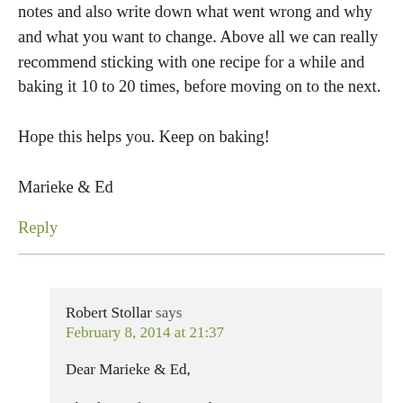notes and also write down what went wrong and why and what you want to change. Above all we can really recommend sticking with one recipe for a while and baking it 10 to 20 times, before moving on to the next.
Hope this helps you. Keep on baking!
Marieke & Ed
Reply
Robert Stollar says
February 8, 2014 at 21:37
Dear Marieke & Ed,
Thank you for your reply. Appreciate it.